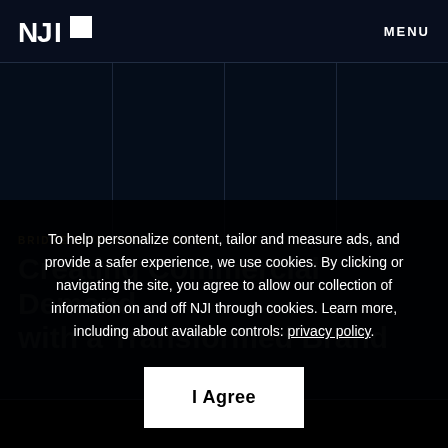[Figure (logo): NJI logo - stylized white text 'NJI' with a small white square on dark background]
MENU
To help personalize content, tailor and measure ads, and provide a safer experience, we use cookies. By clicking or navigating the site, you agree to allow our collection of information on and off NJI through cookies. Learn more, including about available controls: privacy policy.
I Agree
BRIDGE INVESTMENT GROUP: Creating Commercial Demand with a Transformed Brand